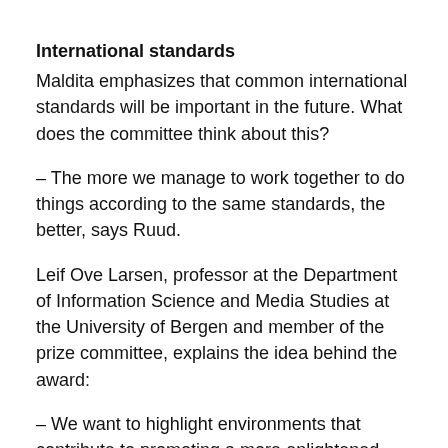International standards
Maldita emphasizes that common international standards will be important in the future. What does the committee think about this?
– The more we manage to work together to do things according to the same standards, the better, says Ruud.
Leif Ove Larsen, professor at the Department of Information Science and Media Studies at the University of Bergen and member of the prize committee, explains the idea behind the award:
– We want to highlight environments that contribute to promoting a more enlightened public discourse, for example through the development of technology or to use existing technology in ways that support this…